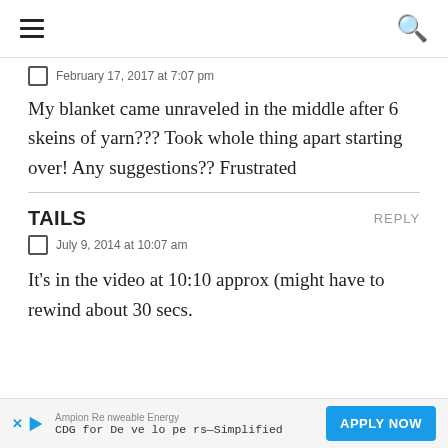☰  🔍
February 17, 2017 at 7:07 pm
My blanket came unraveled in the middle after 6 skeins of yarn??? Took whole thing apart starting over! Any suggestions?? Frustrated
TAILS
July 9, 2014 at 10:07 am
It's in the video at 10:10 approx (might have to rewind about 30 secs.
Ampion Renewable Energy CDG for Developers—Simplified APPLY NOW